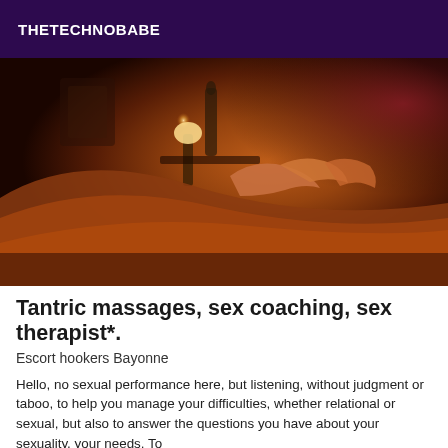THETECHNOBABE
[Figure (photo): A dimly lit room with warm amber and red tones, showing a hand touching a surface, a lamp and bottle visible in the background, suggestive of a massage setting.]
Tantric massages, sex coaching, sex therapist*.
Escort hookers Bayonne
Hello, no sexual performance here, but listening, without judgment or taboo, to help you manage your difficulties, whether relational or sexual, but also to answer the questions you have about your sexuality, your needs. To